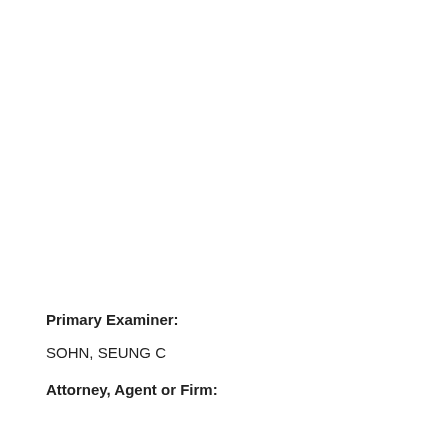Primary Examiner:
SOHN, SEUNG C
Attorney, Agent or Firm: